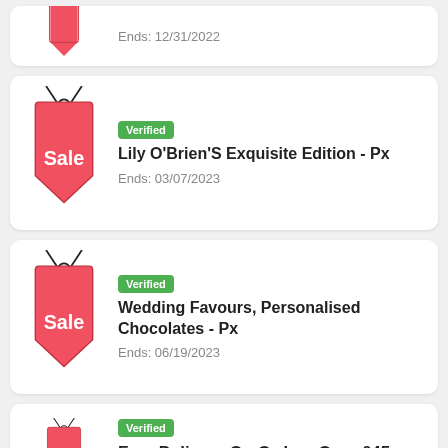[Figure (illustration): Red sale price tag icon (partial, top cut off) with string loops]
Ends: 12/31/2022
[Figure (illustration): Red sale price tag icon with Sale text and string loops]
Verified
Lily O'Brien'S Exquisite Edition - Px
Ends: 03/07/2023
[Figure (illustration): Red sale price tag icon with Sale text and string loops]
Verified
Wedding Favours, Personalised Chocolates - Px
Ends: 06/19/2023
[Figure (illustration): Red sale price tag icon (partial, bottom cut off) with string loops]
Verified
Free Delivery On Orders Over £45